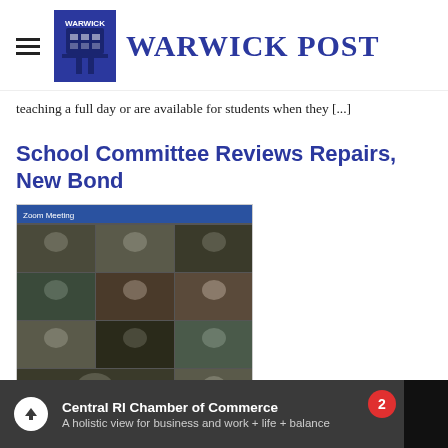Warwick Post
teaching a full day or are available for students when they [...]
School Committee Reviews Repairs, New Bond
[Figure (screenshot): Zoom video meeting grid showing multiple participants in a school committee meeting]
By: Joe Siegel on October 13, 2020 in Schools, Uncategorized
Central RI Chamber of Commerce — A holistic view for business and work + life + balance